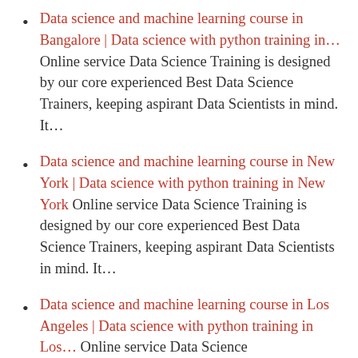Data science and machine learning course in Bangalore | Data science with python training in... Online service Data Science Training is designed by our core experienced Best Data Science Trainers, keeping aspirant Data Scientists in mind. It...
Data science and machine learning course in New York | Data science with python training in New York Online service Data Science Training is designed by our core experienced Best Data Science Trainers, keeping aspirant Data Scientists in mind. It...
Data science and machine learning course in Los Angeles | Data science with python training in Los... Online service Data Science Training is designed by our core experienced Best Data Science Trainers, keeping aspirant Data Scientists in mind. It...